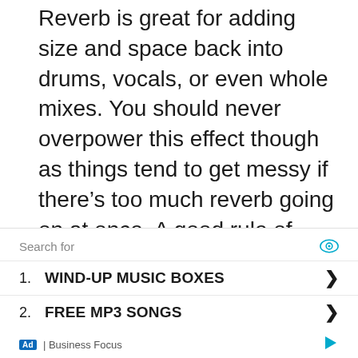Reverb is great for adding size and space back into drums, vocals, or even whole mixes. You should never overpower this effect though as things tend to get messy if there's too much reverb going on at once. A good rule of thumb is to use one reverb with a short decay time (<300ms) on each individual sound.
Search for
1. WIND-UP MUSIC BOXES
2. FREE MP3 SONGS
Ad | Business Focus